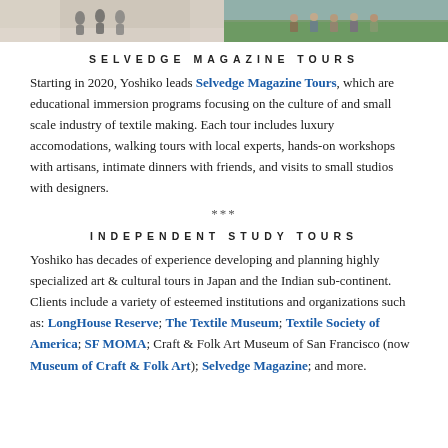[Figure (photo): Two-panel photo strip: left panel shows people in a light indoor/gallery setting, right panel shows a group of people outdoors on green grass.]
SELVEDGE MAGAZINE TOURS
Starting in 2020, Yoshiko leads Selvedge Magazine Tours, which are educational immersion programs focusing on the culture of and small scale industry of textile making. Each tour includes luxury accomodations, walking tours with local experts, hands-on workshops with artisans, intimate dinners with friends, and visits to small studios with designers.
***
INDEPENDENT STUDY TOURS
Yoshiko has decades of experience developing and planning highly specialized art & cultural tours in Japan and the Indian sub-continent. Clients include a variety of esteemed institutions and organizations such as: LongHouse Reserve; The Textile Museum; Textile Society of America; SF MOMA; Craft & Folk Art Museum of San Francisco (now Museum of Craft & Folk Art); Selvedge Magazine; and more.